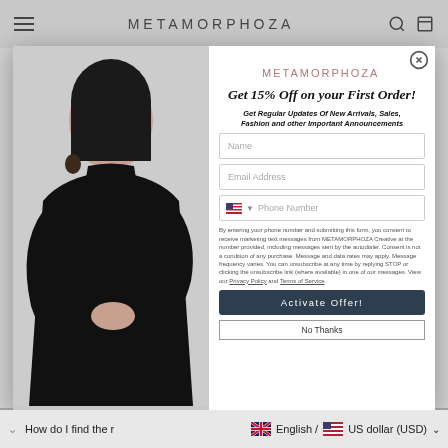METAMORPHOZA
[Figure (photo): Fashion model wearing all-black outfit with turtleneck top and long cardigan/coat, dark braided hair, hoop earrings, light background]
Get 15% Off on your First Order!
Get Regular Updates Of New Arrivals, Sales, Fashion and other Important Announcements
By entering your phone number and submitting this form, you consent to receive marketing text messages from METAMORPHOZA Creative at the number provided, including messages sent by the autodialer. Consent is not a condition of any purchase. Message and data rates may apply. Message frequency varies. You can unsubscribe at any time by replying STOP or clicking the unsubscribe link (where available) in one of our messages. View our Privacy Policy and Terms of Service.
Activate Offer!
No Thanks
English / US dollar (USD)